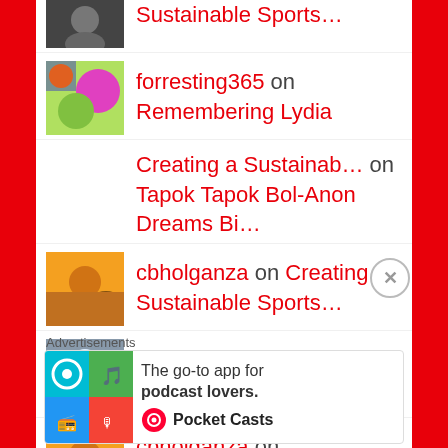Sustainable Sports…
forresting365 on Remembering Lydia
Creating a Sustainab… on Tapok Tapok Bol-Anon Dreams Bi…
cbholganza on Creating a Sustainable Sports…
nedhamson on Creating a Sustainable Sports…
cbholganza on Remembering Lydia
walkingoffthechessbo… on Remembering Lydia
Advertisements
[Figure (infographic): Pocket Casts advertisement: The go-to app for podcast lovers.]